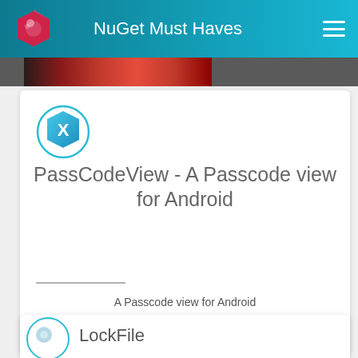NuGet Must Haves
[Figure (screenshot): Partial banner image strip visible below the header navigation bar]
PassCodeView - A Passcode view for Android
A Passcode view for Android
Score: .5 | votes (0) | 1/29/2019 | v 0.1.2
LockFile